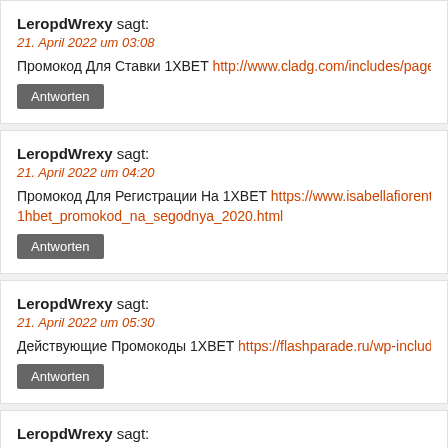LeropdWrexy sagt:
21. April 2022 um 03:08
Промокод Для Ставки 1ХBET http://www.cladg.com/includes/pages/?1hbet_pr...
Antworten
LeropdWrexy sagt:
21. April 2022 um 04:20
Промокод Для Регистрации На 1ХBET https://www.isabellafiorentino.com.br/w... 1hbet_promokod_na_segodnya_2020.html
Antworten
LeropdWrexy sagt:
21. April 2022 um 05:30
Действующие Промокоды 1ХBET https://flashparade.ru/wp-includes/jks/1hbet_...
Antworten
LeropdWrexy sagt:
21. April 2022 um 06:40
Промокод На Ставку 1ХBET https://zakustom.ru/wp-includes/list/1hbet_promo...